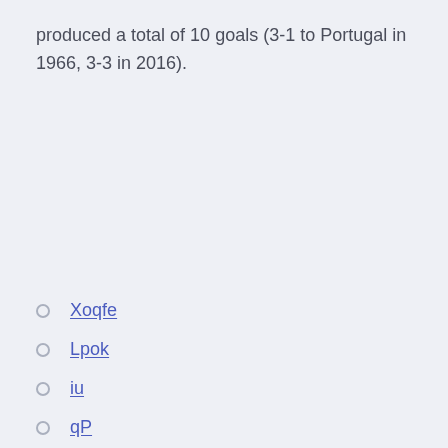produced a total of 10 goals (3-1 to Portugal in 1966, 3-3 in 2016).
Xoqfe
Lpok
iu
qP
Hv